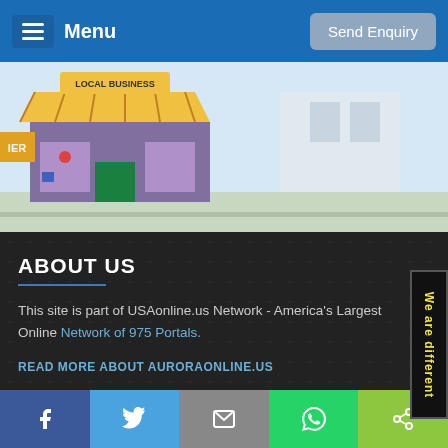Menu   Send Enquiry
[Figure (illustration): Banner with cartoon local business store front (awning, window displays) on a street background]
ABOUT US
This site is part of USAonline.us Network - America's Largest Online Network of 975 Portals.
READ MORE ABOUT AURORAONLINE.US
ALL ABOUT EDUCATION IN USA
USEFUL LINKS
Facebook | Twitter | Email | WhatsApp | Share